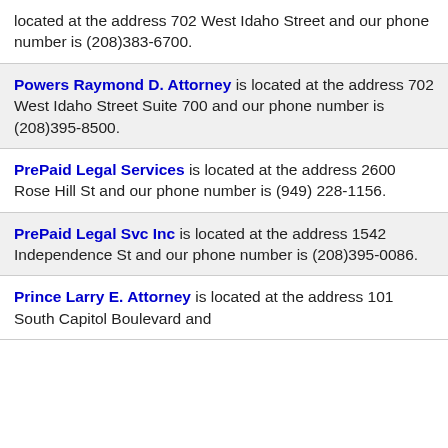located at the address 702 West Idaho Street and our phone number is (208)383-6700.
Powers Raymond D. Attorney is located at the address 702 West Idaho Street Suite 700 and our phone number is (208)395-8500.
PrePaid Legal Services is located at the address 2600 Rose Hill St and our phone number is (949) 228-1156.
PrePaid Legal Svc Inc is located at the address 1542 Independence St and our phone number is (208)395-0086.
Prince Larry E. Attorney is located at the address 101 South Capitol Boulevard and